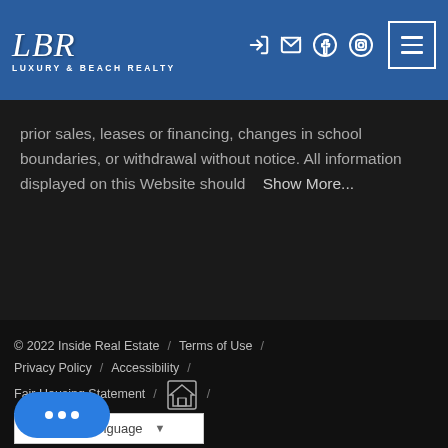LBR Luxury & Beach Realty
prior sales, leases or financing, changes in school boundaries, or withdrawal without notice. All information displayed on this Website should   Show More...
© 2022 Inside Real Estate  /  Terms of Use  /  Privacy Policy  /  Accessibility  /  Fair Housing Statement  /  [Equal Housing Logo]  /  Select Language
[Figure (logo): Google Translate Select Language dropdown widget]
[Figure (illustration): Blue chat button with three dots indicating messaging widget]